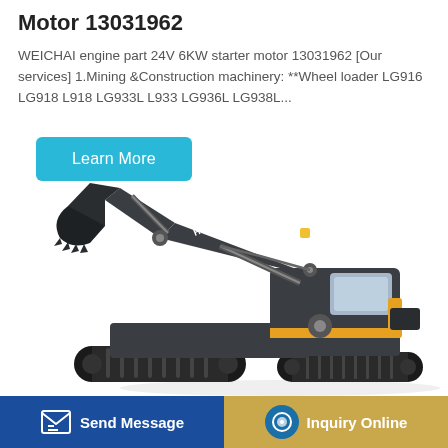Motor 13031962
WEICHAI engine part 24V 6KW starter motor 13031962 [Our services] 1.Mining &Construction machinery: **Wheel loader LG916 LG918 L918 LG933L L933 LG936L LG938L...
[Figure (illustration): A large Hyundai tracked excavator (crawler excavator) shown in profile, dark grey/black body with orange/yellow cab accents, arm extended forward with bucket lowered, on white background.]
Send Message | Inquiry Online